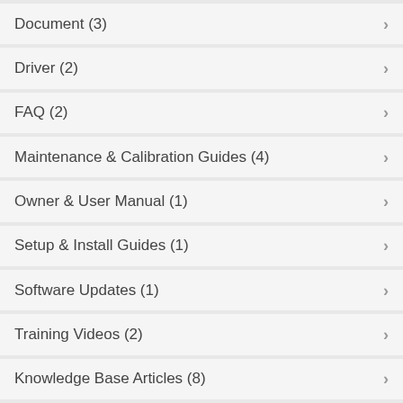Document (3)
Driver (2)
FAQ (2)
Maintenance & Calibration Guides (4)
Owner & User Manual (1)
Setup & Install Guides (1)
Software Updates (1)
Training Videos (2)
Knowledge Base Articles (8)